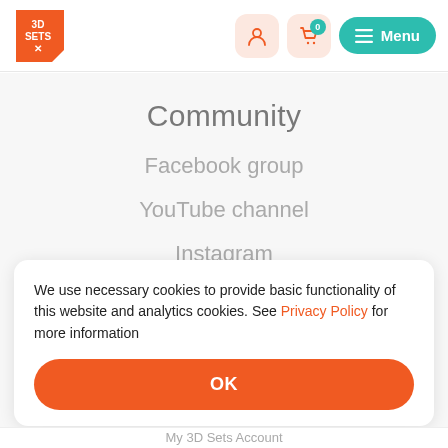3D SETS X — Menu, account and cart icons
Community
Facebook group
YouTube channel
Instagram
We use necessary cookies to provide basic functionality of this website and analytics cookies. See Privacy Policy for more information
OK
My 3D Sets Account